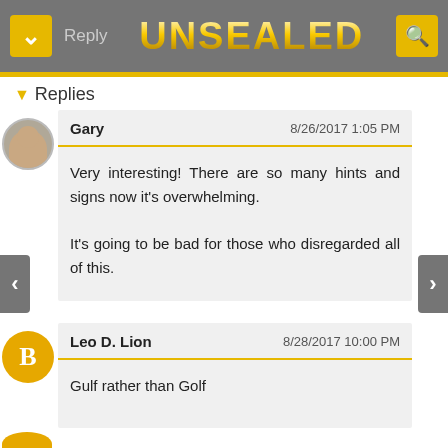Reply  UNSEALED
▾ Replies
Gary   8/26/2017 1:05 PM
Very interesting! There are so many hints and signs now it's overwhelming.

It's going to be bad for those who disregarded all of this.
Leo D. Lion   8/28/2017 10:00 PM
Gulf rather than Golf